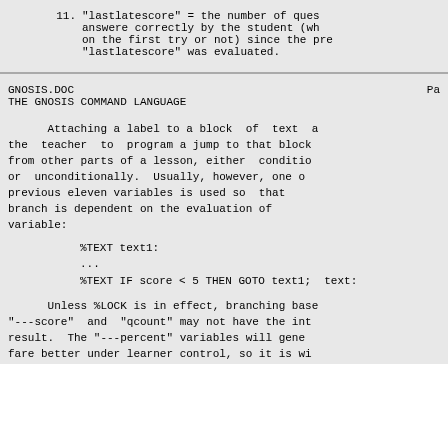11. "lastlatescore" = the number of questions answere correctly by the student (whether on the first try or not) since the previous "lastlatescore" was evaluated.
GNOSIS.DOC                                        Pa
THE GNOSIS COMMAND LANGUAGE
Attaching a label to a block of text allows the teacher to program a jump to that block from other parts of a lesson, either conditionally or unconditionally. Usually, however, one of the previous eleven variables is used so that the branch is dependent on the evaluation of the variable:
%TEXT text1:
...
%TEXT IF score < 5 THEN GOTO text1;  text:
Unless %LOCK is in effect, branching based on "---score" and "qcount" may not have the intended result. The "---percent" variables will generally fare better under learner control, so it is wise to use them in all environments except the s